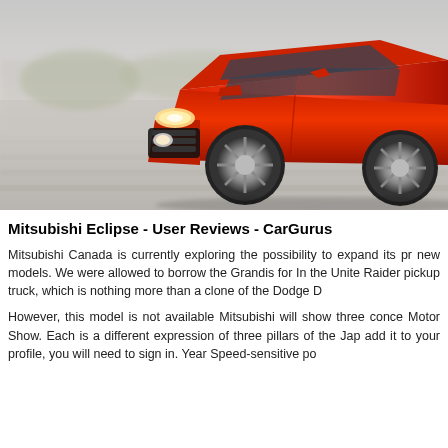[Figure (photo): A red Mitsubishi Eclipse sports car photographed from a low front-side angle while in motion on a road, with motion blur in the background.]
Mitsubishi Eclipse - User Reviews - CarGurus
Mitsubishi Canada is currently exploring the possibility to expand its pr new models. We were allowed to borrow the Grandis for In the Unite Raider pickup truck, which is nothing more than a clone of the Dodge D
However, this model is not available Mitsubishi will show three conce Motor Show. Each is a different expression of three pillars of the Jap add it to your profile, you will need to sign in. Year Speed-sensitive po